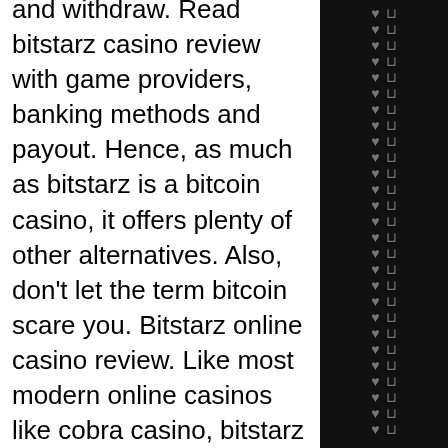and withdraw. Read bitstarz casino review with game providers, banking methods and payout. Hence, as much as bitstarz is a bitcoin casino, it offers plenty of other alternatives. Also, don't let the term bitcoin scare you. Bitstarz online casino review. Like most modern online casinos like cobra casino, bitstarz has an incredibly complicated system in place for. They have great games and the best customer service i've seen. They hook up free spins a lot and even add money to account once in awhile. Bitstarz reviews 2022 our comprehensive review on bitstarz bitcoin betting! 🎰 claim your bitstarz bonus right here at strafe! Bitstarz casino review 2021! read 6 player reviews, see bitstarz casino ranking and rating based on 44 votes, find bonuses &amp; full information
The games look exceptionally modern and include some of the biggest possible wins; some games even offer free-spin rounds just
[Figure (other): Dark sidebar with repeating heart and cup/trophy icon symbols arranged in rows on a black background]